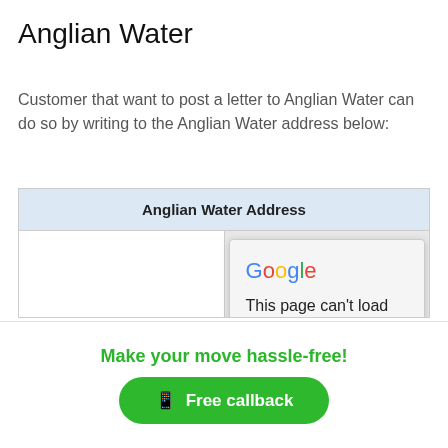Anglian Water
Customer that want to post a letter to Anglian Water can do so by writing to the Anglian Water address below:
| Anglian Water Address |
| --- |
| PO Box 4994 | [Google Maps error: This page can't load Google Maps correctly.] |
[Figure (screenshot): Google Maps error dialog overlay reading 'This page can't load Google Maps correctly.' with a 'Do you own this website?' link and an OK button]
Make your move hassle-free!
Free callback